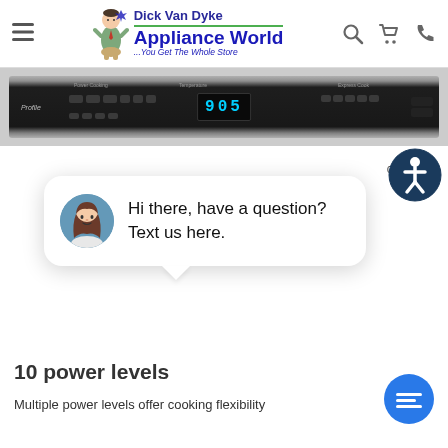Dick Van Dyke Appliance World ...You Get The Whole Store
[Figure (photo): Dick Van Dyke Appliance World logo with mascot cartoon character and icons for search, cart, and phone]
[Figure (photo): Close-up of appliance control panel with display showing 905, labeled Profile]
[Figure (screenshot): Chat widget popup with avatar of woman and text: Hi there, have a question? Text us here.]
clo
10 power levels
Multiple power levels offer cooking flexibility